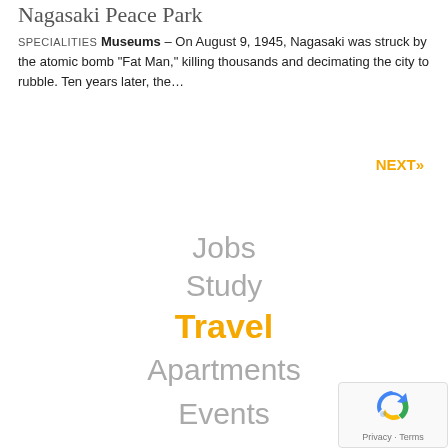Nagasaki Peace Park
SPECIALITIES MUSEUMS - On August 9, 1945, Nagasaki was struck by the atomic bomb "Fat Man," killing thousands and decimating the city to rubble. Ten years later, the...
NEXT»
Jobs
Study
Travel
Apartments
Events